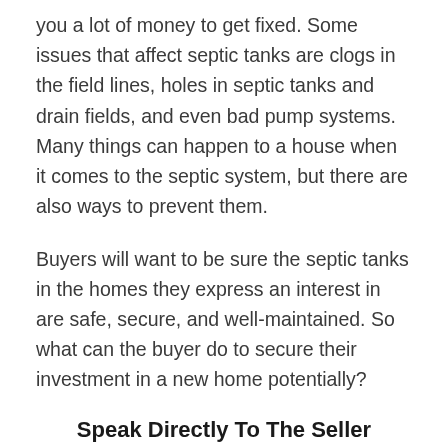you a lot of money to get fixed. Some issues that affect septic tanks are clogs in the field lines, holes in septic tanks and drain fields, and even bad pump systems. Many things can happen to a house when it comes to the septic system, but there are also ways to prevent them.
Buyers will want to be sure the septic tanks in the homes they express an interest in are safe, secure, and well-maintained. So what can the buyer do to secure their investment in a new home potentially?
Speak Directly To The Seller
The seller of a property is the most...